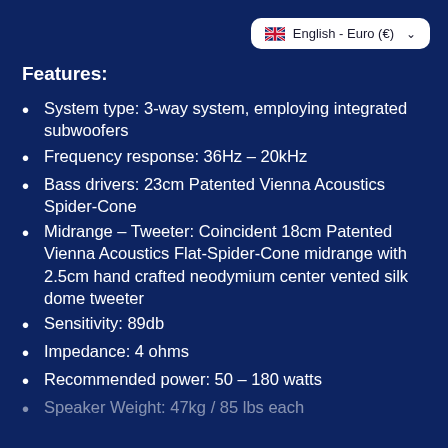English - Euro (€)
Features:
System type: 3-way system, employing integrated subwoofers
Frequency response: 36Hz – 20kHz
Bass drivers: 23cm Patented Vienna Acoustics Spider-Cone
Midrange – Tweeter: Coincident 18cm Patented Vienna Acoustics Flat-Spider-Cone midrange with 2.5cm hand crafted neodymium center vented silk dome tweeter
Sensitivity: 89db
Impedance: 4 ohms
Recommended power: 50 – 180 watts
Speaker Weight: 47kg / 85 lbs each